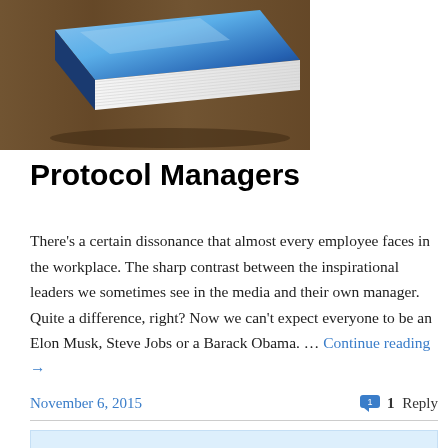[Figure (illustration): A blue book lying on a wooden surface, viewed from an angle, with pages visible on the right side.]
Protocol Managers
There's a certain dissonance that almost every employee faces in the workplace. The sharp contrast between the inspirational leaders we sometimes see in the media and their own manager. Quite a difference, right? Now we can't expect everyone to be an Elon Musk, Steve Jobs or a Barack Obama. … Continue reading →
November 6, 2015
1 Reply